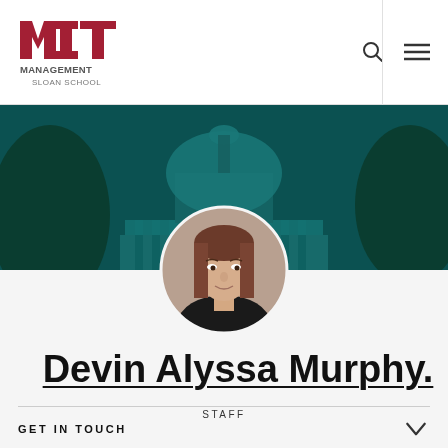[Figure (logo): MIT Management Sloan School logo with red MIT text and gray MANAGEMENT SLOAN SCHOOL text]
[Figure (photo): MIT dome building with teal/green overlay as hero banner background]
[Figure (photo): Circular profile photo of Devin Alyssa Murphy, a woman with brown hair]
STAFF
Devin Alyssa Murphy.
GET IN TOUCH